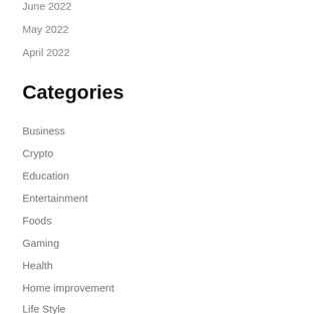June 2022
May 2022
April 2022
Categories
Business
Crypto
Education
Entertainment
Foods
Gaming
Health
Home improvement
Life Style